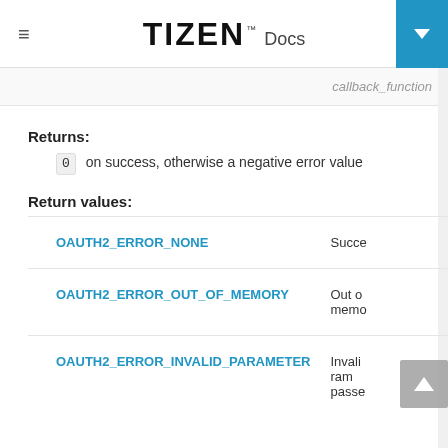TIZEN Docs
callback_function
Returns:
0 on success, otherwise a negative error value
Return values:
|  |  |
| --- | --- |
| OAUTH2_ERROR_NONE | Succe... |
| OAUTH2_ERROR_OUT_OF_MEMORY | Out of memory |
| OAUTH2_ERROR_INVALID_PARAMETER | Invalid parameter passed |